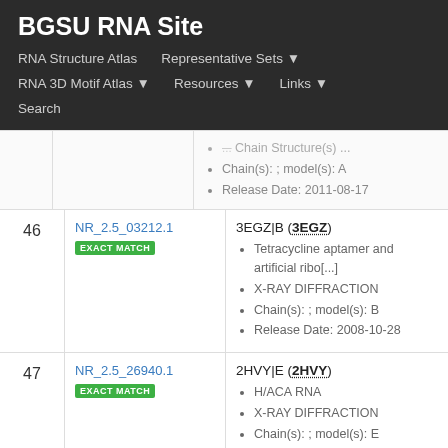BGSU RNA Site
RNA Structure Atlas | Representative Sets ▾ | RNA 3D Motif Atlas ▾ | Resources ▾ | Links ▾ | Search
| # | ID | Info |
| --- | --- | --- |
|  |  | Chain(s): ; model(s): A • Release Date: 2011-08-17 |
| 46 | NR_2.5_03212.1 EXACT MATCH | 3EGZ|B (3EGZ) • Tetracycline aptamer and artificial ribo[...] • X-RAY DIFFRACTION • Chain(s): ; model(s): B • Release Date: 2008-10-28 |
| 47 | NR_2.5_26940.1 EXACT MATCH | 2HVY|E (2HVY) • H/ACA RNA • X-RAY DIFFRACTION • Chain(s): ; model(s): E • Release Date: 2006-09-12 |